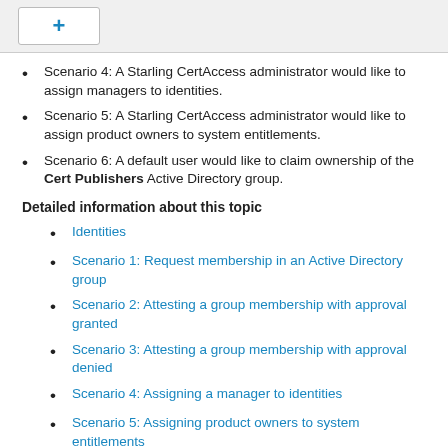+
Scenario 4: A Starling CertAccess administrator would like to assign managers to identities.
Scenario 5: A Starling CertAccess administrator would like to assign product owners to system entitlements.
Scenario 6: A default user would like to claim ownership of the Cert Publishers Active Directory group.
Detailed information about this topic
Identities
Scenario 1: Request membership in an Active Directory group
Scenario 2: Attesting a group membership with approval granted
Scenario 3: Attesting a group membership with approval denied
Scenario 4: Assigning a manager to identities
Scenario 5: Assigning product owners to system entitlements
Scenario 6: Claim ownership of a system entitlement